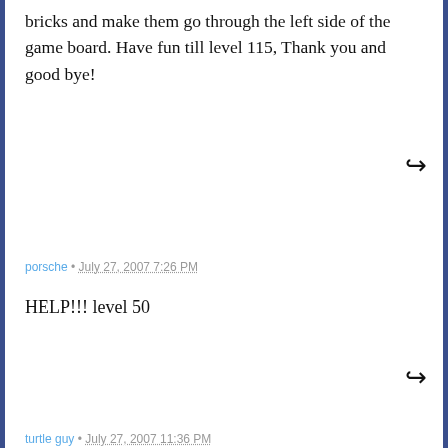bricks and make them go through the left side of the game board. Have fun till level 115, Thank you and good bye!
porsche • July 27, 2007 7:26 PM
HELP!!! level 50
turtle guy • July 27, 2007 11:36 PM
How do you beat 36?
ben • July 28, 2007 1:21 AM
Help on level 46! I've tried a million times I can't